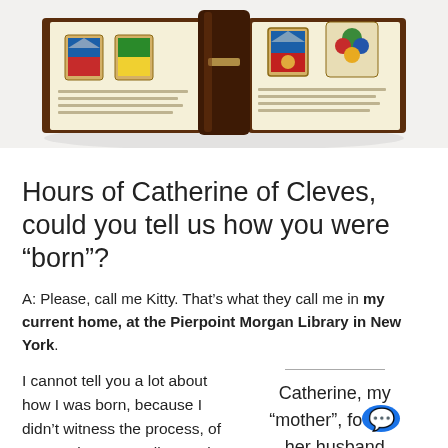[Figure (photo): Photograph of an illuminated manuscript (Book of Hours) open to pages showing heraldic coats of arms and colorful decorations, bound in dark brown leather, shot from above on a white background.]
Hours of Catherine of Cleves, could you tell us how you were “born”?
A: Please, call me Kitty. That’s what they call me in my current home, at the Pierpoint Morgan Library in New York.
I cannot tell you a lot about how I was born, because I didn’t witness the process, of course, but I can tell you a lot about the two people...
Catherine, my “mother”, fo… her husband